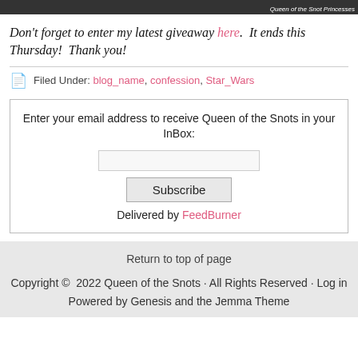[Figure (photo): Dark image strip with caption text 'Queen of the Snot Princesses' in white italic font on the right side]
Don't forget to enter my latest giveaway here.  It ends this Thursday!  Thank you!
Filed Under: blog_name, confession, Star_Wars
Enter your email address to receive Queen of the Snots in your InBox:
Subscribe
Delivered by FeedBurner
Return to top of page
Copyright © 2022 Queen of the Snots · All Rights Reserved · Log in
Powered by Genesis and the Jemma Theme